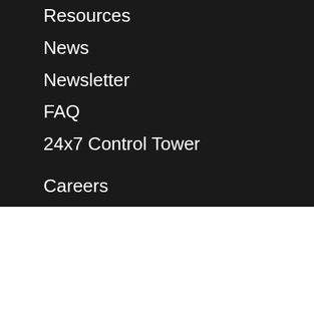Resources
News
Newsletter
FAQ
24x7 Control Tower
Careers
Request a Trial
Contact
Privacy Policy
We would like to give you an awesomely tailored browsing experience by using cookies. Please provide your consent. You can also read our entire Privacy Policy.
Accept
Decline